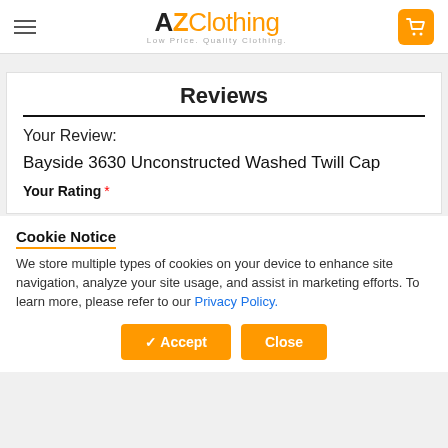AZClothing - Low Price. Quality Clothing.
Reviews
Your Review:
Bayside 3630 Unconstructed Washed Twill Cap
Your Rating *
Cookie Notice
We store multiple types of cookies on your device to enhance site navigation, analyze your site usage, and assist in marketing efforts. To learn more, please refer to our Privacy Policy.